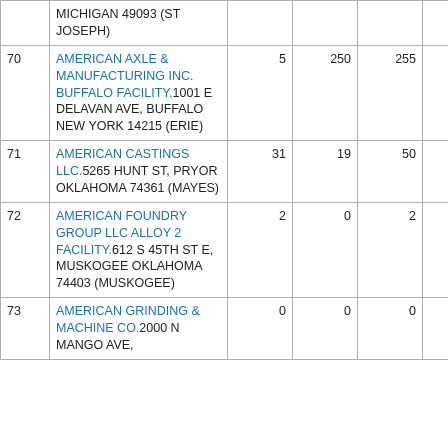| # | Name/Address | Col3 | Col4 | Col5 | Col6 |
| --- | --- | --- | --- | --- | --- |
|  | MICHIGAN 49093 (ST JOSEPH) |  |  |  |  |
| 70 | AMERICAN AXLE & MANUFACTURING INC. BUFFALO FACILITY.1001 E DELAVAN AVE, BUFFALO NEW YORK 14215 (ERIE) | 5 | 250 | 255 | 0 |
| 71 | AMERICAN CASTINGS LLC.5265 HUNT ST, PRYOR OKLAHOMA 74361 (MAYES) | 31 | 19 | 50 | 0 |
| 72 | AMERICAN FOUNDRY GROUP LLC ALLOY 2 FACILITY.612 S 45TH ST E, MUSKOGEE OKLAHOMA 74403 (MUSKOGEE) | 2 | 0 | 2 | 0 |
| 73 | AMERICAN GRINDING & MACHINE CO.2000 N MANGO AVE, | 0 | 0 | 0 | 0 |